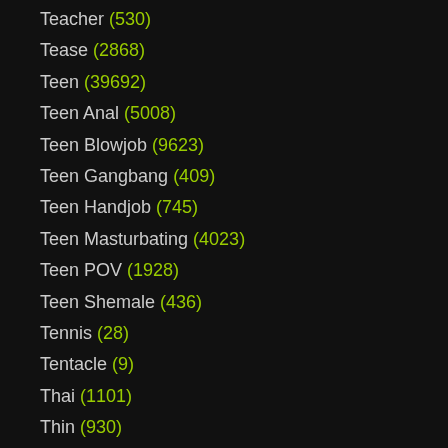Teacher (530)
Tease (2868)
Teen (39692)
Teen Anal (5008)
Teen Blowjob (9623)
Teen Gangbang (409)
Teen Handjob (745)
Teen Masturbating (4023)
Teen POV (1928)
Teen Shemale (436)
Tennis (28)
Tentacle (9)
Thai (1101)
Thin (930)
Thong (391)
Threesome (10058)